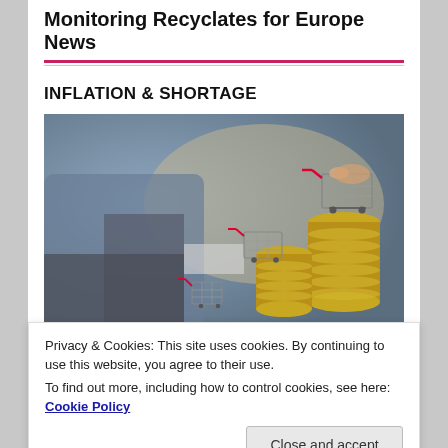Monitoring Recyclates for Europe News
INFLATION & SHORTAGE
[Figure (photo): Person in suit holding miniature shopping carts placed on stacks of gold coins, representing inflation and shopping/consumer costs]
Privacy & Cookies: This site uses cookies. By continuing to use this website, you agree to their use.
To find out more, including how to control cookies, see here: Cookie Policy
Close and accept
FAIRY TALES SERIES
[Figure (photo): Person wearing Mickey Mouse ears with a castle in the background, representing a fairy tales / Disney theme]